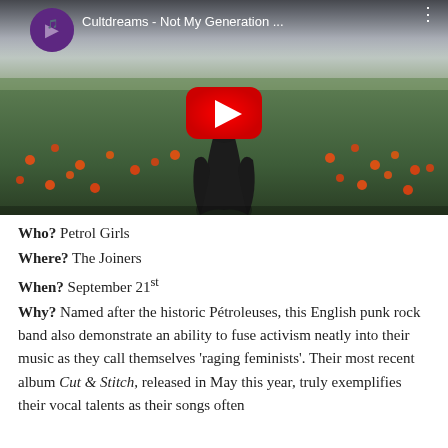[Figure (screenshot): YouTube video thumbnail for 'Cultdreams - Not My Generation ...' showing a dark-cloaked figure in a field of orange flowers with a red YouTube play button overlay. Channel avatar shown top-left, video title top-center, three-dot menu top-right.]
Who? Petrol Girls
Where? The Joiners
When? September 21st
Why? Named after the historic Pétroleuses, this English punk rock band also demonstrate an ability to fuse activism neatly into their music as they call themselves 'raging feminists'. Their most recent album Cut & Stitch, released in May this year, truly exemplifies their vocal talents as their songs often